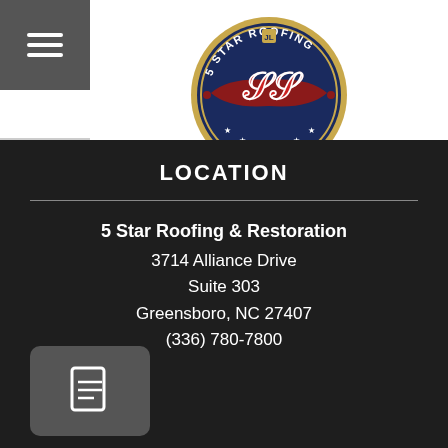[Figure (logo): 5 Star Roofing circular logo with navy blue background, gold border, red ribbon banner reading '5 STAR ROOFING', stylized red SS letters in center, white stars around bottom, small gold icon at top]
LOCATION
5 Star Roofing & Restoration
3714 Alliance Drive
Suite 303
Greensboro, NC 27407
(336) 780-7800